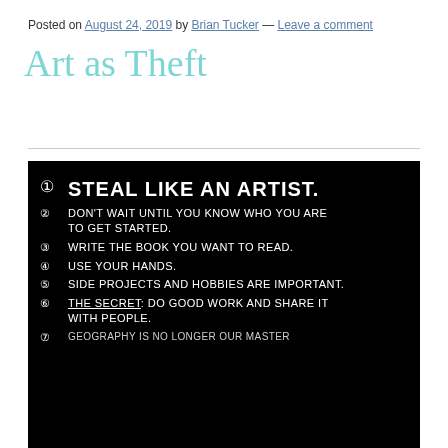Posted on August 24, 2019 by Brian Tucker — Leave a comment
Art as Theft
[Figure (photo): Black background image with handwritten white text listing 7 rules for artists: 1) STEAL LIKE AN ARTIST. 2) DON'T WAIT UNTIL YOU KNOW WHO YOU ARE TO GET STARTED. 3) WRITE THE BOOK YOU WANT TO READ. 4) USE YOUR HANDS. 5) SIDE PROJECTS AND HOBBIES ARE IMPORTANT. 6) THE SECRET: DO GOOD WORK AND SHARE IT WITH PEOPLE. 7) GEOGRAPHY IS NO LONGER OUR MASTER (partially visible).]